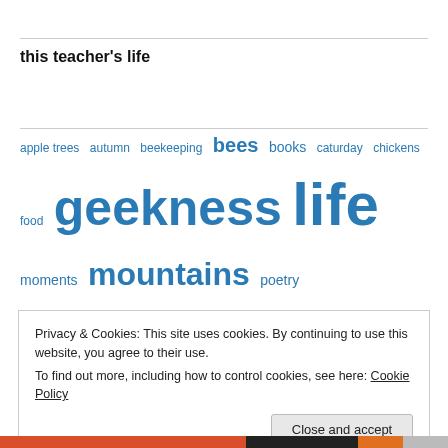this teacher's life
[Figure (infographic): Tag cloud with blog category links in varying font sizes. Tags include: apple trees, autumn, beekeeping, bees (large), books, caturday, chickens, food, geekness (very large), life (largest), moments, mountains (large), poetry, school (very large), spring, stars, TV, Uncategorized, winter]
Privacy & Cookies: This site uses cookies. By continuing to use this website, you agree to their use. To find out more, including how to control cookies, see here: Cookie Policy
Close and accept